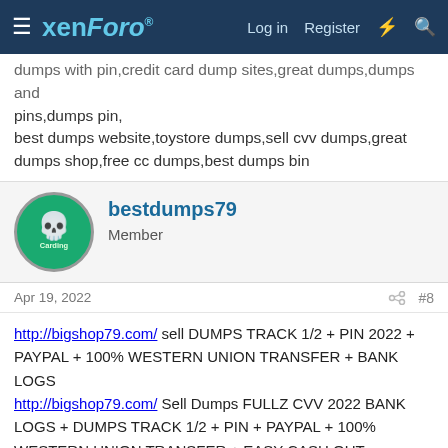xenForo | Log in | Register
dumps with pin,credit card dump sites,great dumps,dumps and pins,dumps pin,
best dumps website,toystore dumps,sell cvv dumps,great dumps shop,free cc dumps,best dumps bin
bestdumps79
Member
Apr 19, 2022  #8
http://bigshop79.com/ sell DUMPS TRACK 1/2 + PIN 2022 + PAYPAL + 100% WESTERN UNION TRANSFER + BANK LOGS
http://bigshop79.com/ Sell Dumps FULLZ CVV 2022 BANK LOGS + DUMPS TRACK 1/2 + PIN + PAYPAL + 100% WESTERN UNION TRANSFER + EASY CASH OUT
http://bigshop79.com/ Sell Dumps Track 1/2 2022 SSN DOB Track-1/2-FULLZ-Transfer/Western union
http://bigshop79.com/ Sell DUMPS+ATM PINS 2022/CVV &